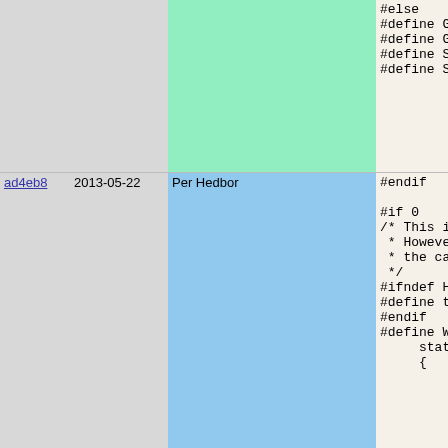| hash | date | author | code |
| --- | --- | --- | --- |
|  |  |  | #else
#define GET_
#define GET_
#define SET_
#define SET_ |
| ad4eb8 | 2013-05-22 | Per Hedbor | #endif

#if 0
/* This is s
 * However:
 * the calen
 */
#ifndef HAVE
#define time
#endif
#define WITH
     static R
     {
          RETU
          int
          cha |
| b60580 | 2013-07-08 | Henrik Grubbström (Grubba) | if( |
| ad4eb8 | 2013-05-22 | Per Hedbor | { |
| b60580 | 2013-07-08 | Henrik Grubbström (Grubba) |  |
| ad4eb8 | 2013-05-22 | Per Hedbor |  |